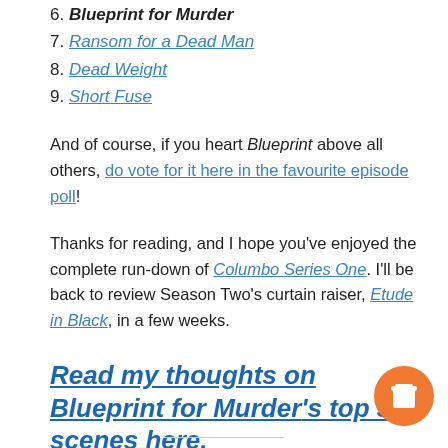6. Blueprint for Murder
7. Ransom for a Dead Man
8. Dead Weight
9. Short Fuse
And of course, if you heart Blueprint above all others, do vote for it here in the favourite episode poll!
Thanks for reading, and I hope you've enjoyed the complete run-down of Columbo Series One. I'll be back to review Season Two's curtain raiser, Etude in Black, in a few weeks.
Read my thoughts on Blueprint for Murder's top 5 scenes here.
[Figure (illustration): Orange circular coffee cup button icon]